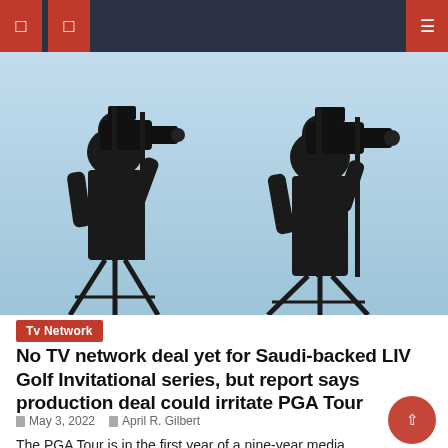Navigation bar with menu icons and search
[Figure (photo): Silhouettes of two television camera operators on cranes against a light blue sky]
Tv Network
No TV network deal yet for Saudi-backed LIV Golf Invitational series, but report says production deal could irritate PGA Tour
May 3, 2022   April R. Gilbert
The PGA Tour is in the first year of a nine-year media rights agreement with CBS, NBC and ESPN and all parties appear